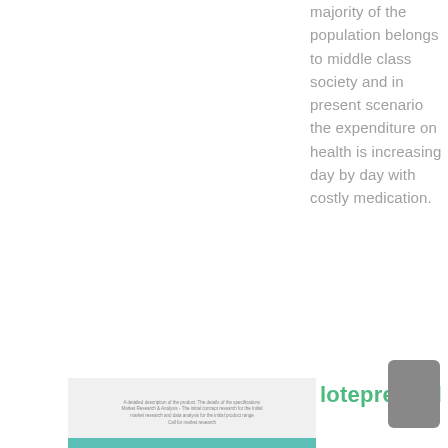majority of the population belongs to middle class society and in present scenario the expenditure on health is increasing day by day with costly medication.
[Figure (screenshot): A screenshot or image of a document/webpage shown in the lower left portion of the page, with small text lines and a teal/green bar at the bottom.]
loteprednol